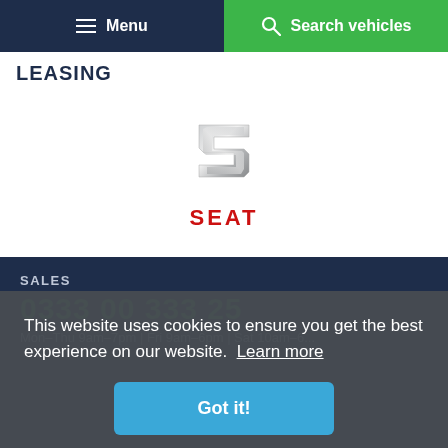Menu | Search vehicles
LEASING
[Figure (logo): SEAT car brand logo — stylized S emblem in silver with red SEAT wordmark below]
SALES
0333 00 333 25
This website uses cookies to ensure you get the best experience on our website. Learn more
Got it!